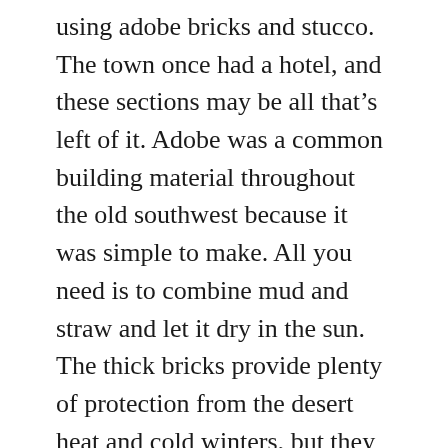using adobe bricks and stucco. The town once had a hotel, and these sections may be all that's left of it. Adobe was a common building material throughout the old southwest because it was simple to make. All you need is to combine mud and straw and let it dry in the sun. The thick bricks provide plenty of protection from the desert heat and cold winters, but they quickly erode once water enters them.
I took several variations of the building, but I favored this one because I liked the mud stains streaking down the wall, and I liked the wall's placement before the background's two-headed mountain. The desert willow and